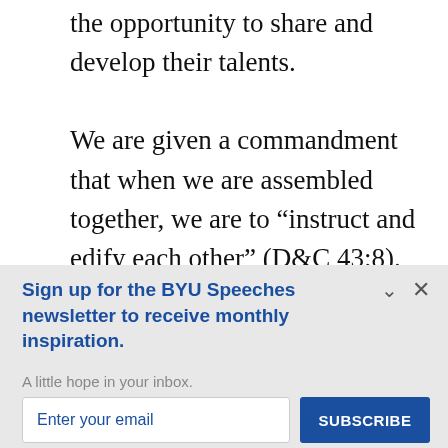the opportunity to share and develop their talents.
We are given a commandment that when we are assembled together, we are to “instruct and edify each other” (D&C 43:8). In Moroni 6:5 we are told, “The church did meet together oft, to fast and to pray, and to speak one with another concerning the welfare of their
Sign up for the BYU Speeches newsletter to receive monthly inspiration.
A little hope in your inbox.
Enter your email
SUBSCRIBE